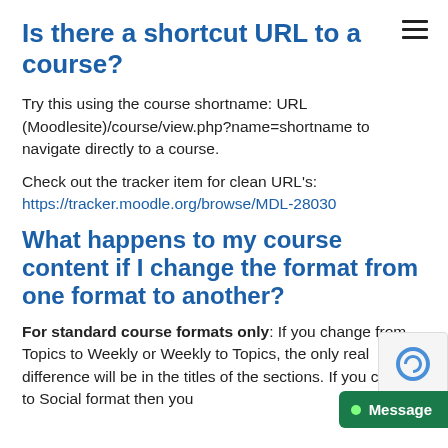Is there a shortcut URL to a course?
Try this using the course shortname: URL (Moodlesite)/course/view.php?name=shortname to navigate directly to a course.
Check out the tracker item for clean URL's: https://tracker.moodle.org/browse/MDL-28030
What happens to my course content if I change the format from one format to another?
For standard course formats only: If you change from Topics to Weekly or Weekly to Topics, the only real difference will be in the titles of the sections. If you change to Social format then you